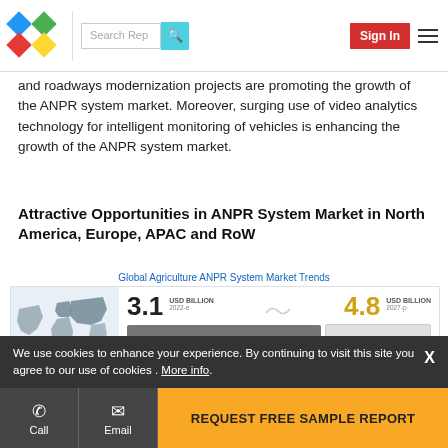Search Rep | Sign In
and roadways modernization projects are promoting the growth of the ANPR system market. Moreover, surging use of video analytics technology for intelligent monitoring of vehicles is enhancing the growth of the ANPR system market.
Attractive Opportunities in ANPR System Market in North America, Europe, APAC and RoW
[Figure (infographic): Global Agriculture ANPR System Market Trends infographic showing: USD 3.1 Billion in 2022-e, USD 4.8 Billion in 2027-p, CAGR of 9.2%, world map, and market description text. The global ANPR system market is projected to be worth USD 4.8 billion by 2027, growing at a CAGR of 9.2% during the forecast period.]
We use cookies to enhance your experience. By continuing to visit this site you agree to our use of cookies . More info.
REQUEST FREE SAMPLE REPORT